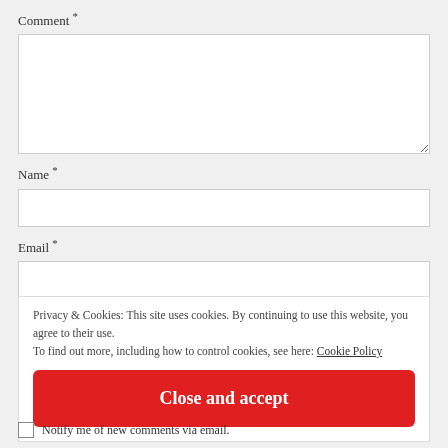Comment *
[Figure (other): Comment textarea input field]
Name *
[Figure (other): Name text input field]
Email *
[Figure (other): Email text input field]
Privacy & Cookies: This site uses cookies. By continuing to use this website, you agree to their use.
To find out more, including how to control cookies, see here: Cookie Policy
Close and accept
Notify me of new comments via email.